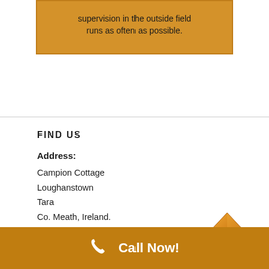supervision in the outside field runs as often as possible.
FIND US
Address:
Campion Cottage
Loughanstown
Tara
Co. Meath, Ireland.
Eircode: C15XE02
[Figure (illustration): Orange upward-pointing arrow button]
Call Now!